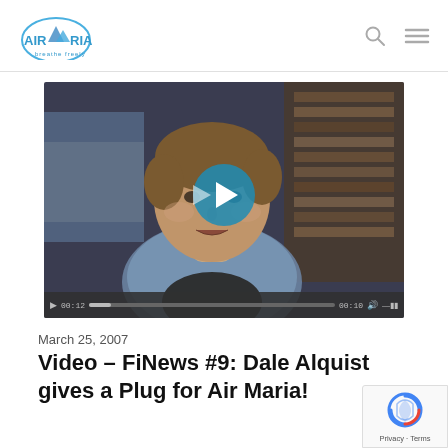Air Maria logo, search icon, menu icon
[Figure (screenshot): Video player showing a man in a blue shirt speaking to camera, with a teal play button overlay in the center and video controls at the bottom showing time 00:12 and 00:10]
March 25, 2007
Video – FiNews #9: Dale Alquist gives a Plug for Air Maria!